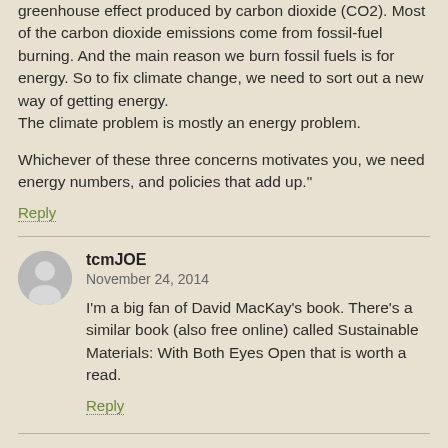greenhouse effect produced by carbon dioxide (CO2). Most of the carbon dioxide emissions come from fossil-fuel burning. And the main reason we burn fossil fuels is for energy. So to fix climate change, we need to sort out a new way of getting energy.
The climate problem is mostly an energy problem.

Whichever of these three concerns motivates you, we need energy numbers, and policies that add up."
Reply
tcmJOE
November 24, 2014
I'm a big fan of David MacKay's book. There's a similar book (also free online) called Sustainable Materials: With Both Eyes Open that is worth a read.
Reply
skunkfunk